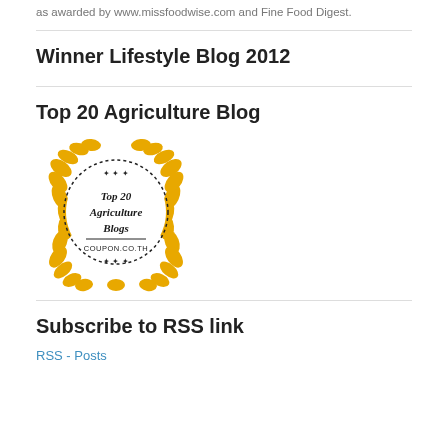as awarded by www.missfoodwise.com and Fine Food Digest.
Winner Lifestyle Blog 2012
Top 20 Agriculture Blog
[Figure (logo): Gold laurel wreath badge with dotted circle border, text reading 'Top 20 Agriculture Blogs' and 'COUPON.CO.TH' with decorative stars]
Subscribe to RSS link
RSS - Posts